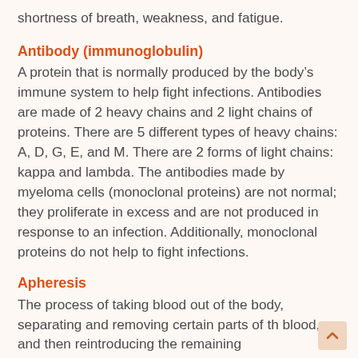shortness of breath, weakness, and fatigue.
Antibody (immunoglobulin)
A protein that is normally produced by the body’s immune system to help fight infections. Antibodies are made of 2 heavy chains and 2 light chains of proteins. There are 5 different types of heavy chains: A, D, G, E, and M. There are 2 forms of light chains: kappa and lambda. The antibodies made by myeloma cells (monoclonal proteins) are not normal; they proliferate in excess and are not produced in response to an infection. Additionally, monoclonal proteins do not help to fight infections.
Apheresis
The process of taking blood out of the body, separating and removing certain parts of the blood, and then reintroducing the remaining